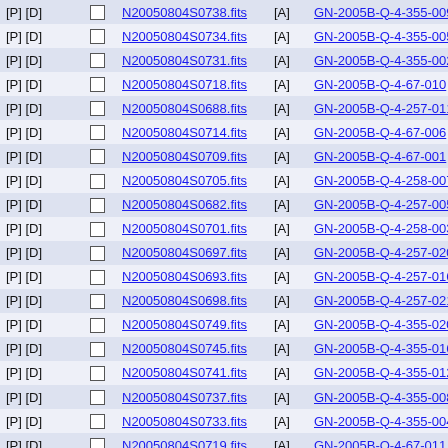| [P][D] |  | Filename | [A] | Program ID | Date |
| --- | --- | --- | --- | --- | --- |
| [P] [D] |  | N20050804S0738.fits | [A] | GN-2005B-Q-4-355-009 | 20... |
| [P] [D] |  | N20050804S0734.fits | [A] | GN-2005B-Q-4-355-005 | 20... |
| [P] [D] |  | N20050804S0731.fits | [A] | GN-2005B-Q-4-355-002 | 20... |
| [P] [D] |  | N20050804S0718.fits | [A] | GN-2005B-Q-4-67-010 | 20... |
| [P] [D] |  | N20050804S0688.fits | [A] | GN-2005B-Q-4-257-011 | 20... |
| [P] [D] |  | N20050804S0714.fits | [A] | GN-2005B-Q-4-67-006 | 20... |
| [P] [D] |  | N20050804S0709.fits | [A] | GN-2005B-Q-4-67-001 | 20... |
| [P] [D] |  | N20050804S0705.fits | [A] | GN-2005B-Q-4-258-007 | 20... |
| [P] [D] |  | N20050804S0682.fits | [A] | GN-2005B-Q-4-257-005 | 20... |
| [P] [D] |  | N20050804S0701.fits | [A] | GN-2005B-Q-4-258-003 | 20... |
| [P] [D] |  | N20050804S0697.fits | [A] | GN-2005B-Q-4-257-020 | 20... |
| [P] [D] |  | N20050804S0693.fits | [A] | GN-2005B-Q-4-257-016 | 20... |
| [P] [D] |  | N20050804S0698.fits | [A] | GN-2005B-Q-4-257-021 | 20... |
| [P] [D] |  | N20050804S0749.fits | [A] | GN-2005B-Q-4-355-020 | 20... |
| [P] [D] |  | N20050804S0745.fits | [A] | GN-2005B-Q-4-355-016 | 20... |
| [P] [D] |  | N20050804S0741.fits | [A] | GN-2005B-Q-4-355-012 | 20... |
| [P] [D] |  | N20050804S0737.fits | [A] | GN-2005B-Q-4-355-008 | 20... |
| [P] [D] |  | N20050804S0733.fits | [A] | GN-2005B-Q-4-355-004 | 20... |
| [P] [D] |  | N20050804S0719.fits | [A] | GN-2005B-Q-4-67-011 | 20... |